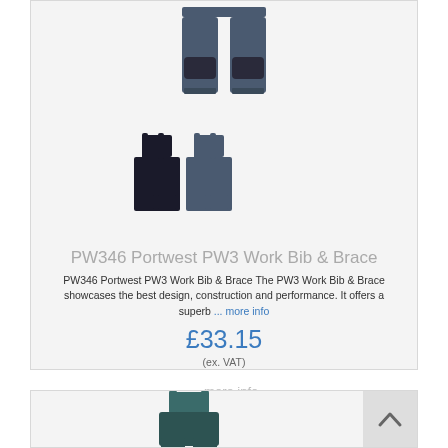[Figure (photo): Product image of PW346 Portwest PW3 Work Bib & Brace - showing trousers from front and two bib & brace overalls]
PW346 Portwest PW3 Work Bib & Brace
PW346 Portwest PW3 Work Bib & Brace The PW3 Work Bib & Brace showcases the best design, construction and performance. It offers a superb ... more info
£33.15
(ex. VAT)
... more info
[Figure (photo): Partial product image of another Portwest bib & brace overall in teal/dark colour]